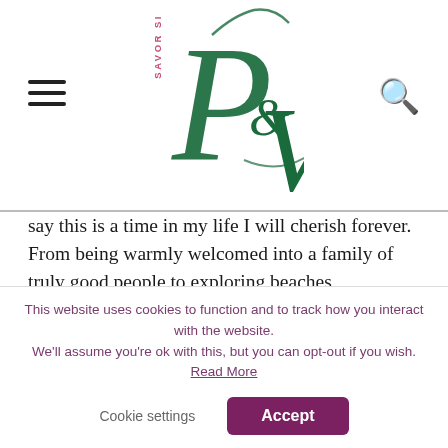SAVOR S… P&V logo header with hamburger menu and search icon
say this is a time in my life I will cherish forever. From being warmly welcomed into a family of truly good people to exploring beaches, mountains, vineyards and wineries with the love of my life, this past month has been one for the books! I can't wait to visit Sardinia again during summer. Fortunately, I have a good excuse to return. 😉
[Figure (other): Blue horizontal bar/button element]
This website uses cookies to function and to track how you interact with the website. We'll assume you're ok with this, but you can opt-out if you wish. Read More
Cookie settings    Accept